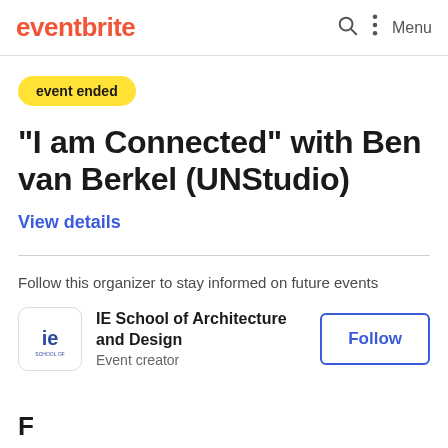eventbrite
event ended
"I am Connected" with Ben van Berkel (UNStudio)
View details
Follow this organizer to stay informed on future events
[Figure (logo): IE School logo - blue 'ie' letters on white background]
IE School of Architecture and Design
Event creator
Follow
F